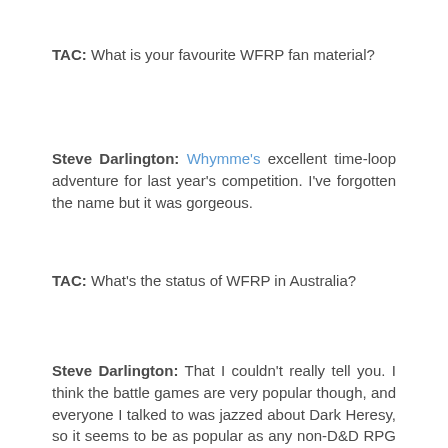TAC: What is your favourite WFRP fan material?
Steve Darlington: Whymme's excellent time-loop adventure for last year's competition. I've forgotten the name but it was gorgeous.
TAC: What's the status of WFRP in Australia?
Steve Darlington: That I couldn't really tell you. I think the battle games are very popular though, and everyone I talked to was jazzed about Dark Heresy, so it seems to be as popular as any non-D&D RPG is these days.